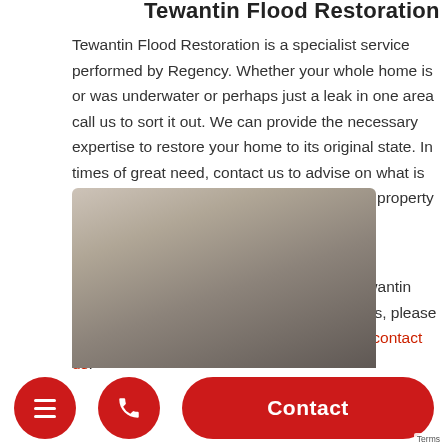Tewantin Flood Restoration
Tewantin Flood Restoration is a specialist service performed by Regency. Whether your whole home is or was underwater or perhaps just a leak in one area call us to sort it out. We can provide the necessary expertise to restore your home to its original state. In times of great need, contact us to advise on what is the best path forward to help to restore your property after flooding.
If we can be of any assistance with your Tewantin Carpet Cleaning or any of the above services, please don't hesitate to call us on 0424 854 951 or contact us.
[Figure (photo): Photo of carpet texture, grey/beige tones, partially visible at bottom of page]
Menu | Phone | Contact | Terms